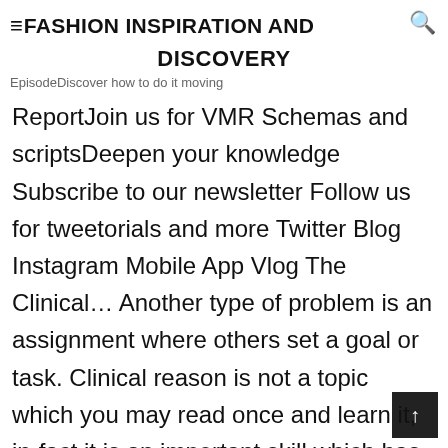≡FASHION INSPIRATION AND DISCOVERY
EpisodeDiscover how to do it moving ReportJoin us for VMR Schemas and scriptsDeepen your knowledge Subscribe to our newsletter Follow us for tweetorials and more Twitter Blog Instagram Mobile App Vlog The Clinical… Another type of problem is an assignment where others set a goal or task. Clinical reason is not a topic which you may read once and learn it, in-fact it is an important skill which has to be developed over time with experiences and knowledge. The couples discuss the situation, such as a customer